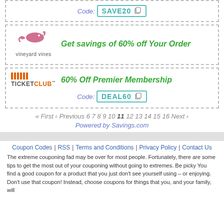[Figure (other): Coupon box with code SAVE20 (partial top coupon)]
[Figure (logo): Vineyard Vines coupon: Get savings of 60% off Your Order]
[Figure (logo): Ticket Club coupon: 60% Off Premier Membership, Code: DEAL60]
« First ‹ Previous 6 7 8 9 10 11 12 13 14 15 16 Next ›
Powered by Savings.com
Coupon Codes | RSS | Terms and Conditions | Privacy Policy | Contact Us
The extreme couponing fad may be over for most people. Fortunately, there are some tips to get the most out of your couponing without going to extremes. Be picky You find a good coupon for a product that you just don't see yourself using – or enjoying. Don't use that coupon! Instead, choose coupons for things that you, and your family, will